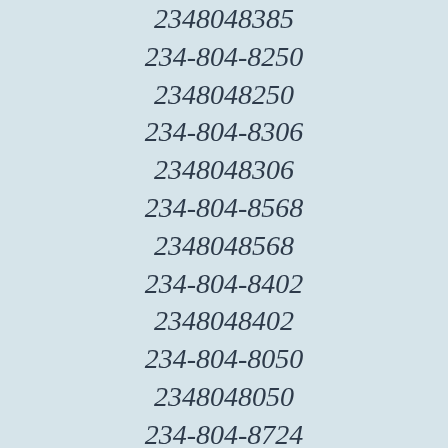2348048385
234-804-8250
2348048250
234-804-8306
2348048306
234-804-8568
2348048568
234-804-8402
2348048402
234-804-8050
2348048050
234-804-8724
2348048724
234-804-8232
2348048232
234-804-8270